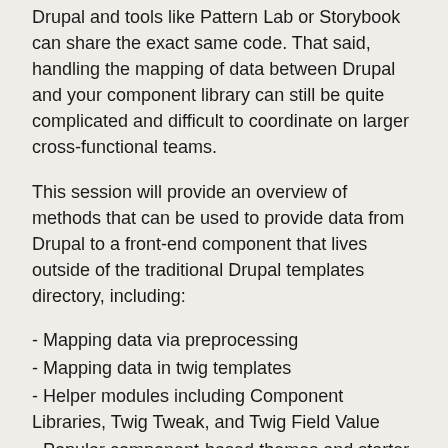Drupal and tools like Pattern Lab or Storybook can share the exact same code. That said, handling the mapping of data between Drupal and your component library can still be quite complicated and difficult to coordinate on larger cross-functional teams.
This session will provide an overview of methods that can be used to provide data from Drupal to a front-end component that lives outside of the traditional Drupal templates directory, including:
- Mapping data via preprocessing
- Mapping data in twig templates
- Helper modules including Component Libraries, Twig Tweak, and Twig Field Value
- Popular component-based themes and starter kits
- UI Patterns and related supporting modules
- Pattern Kit
- Compony
- Single File Components